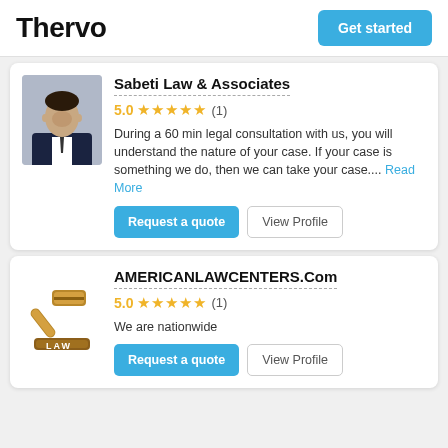Thervo | Get started
Sabeti Law & Associates
5.0 ★★★★★ (1)
During a 60 min legal consultation with us, you will understand the nature of your case. If your case is something we do, then we can take your case.... Read More
Request a quote | View Profile
AMERICANLAWCENTERS.Com
5.0 ★★★★★ (1)
We are nationwide
Request a quote | View Profile